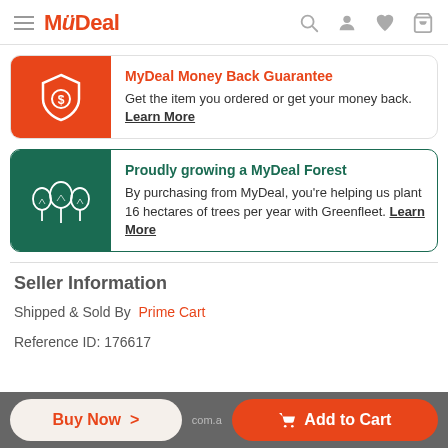MyDeal
MyDeal Money Back Guarantee
Get the item you ordered or get your money back. Learn More
Proudly growing a MyDeal Forest
By purchasing from MyDeal, you're helping us plant 16 hectares of trees per year with Greenfleet. Learn More
Seller Information
Shipped & Sold By  Prime Cart
Reference ID: 176617
Buy Now >   Add to Cart